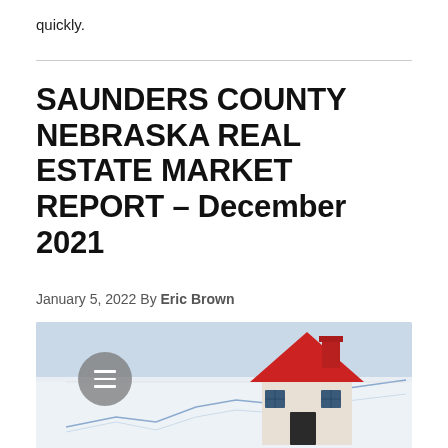quickly.
SAUNDERS COUNTY NEBRASKA REAL ESTATE MARKET REPORT – December 2021
January 5, 2022 By Eric Brown
[Figure (photo): A miniature model house with a red roof and chimney, placed on top of paper documents with a line chart in the background. A grey circular menu icon is visible on the left side of the image.]